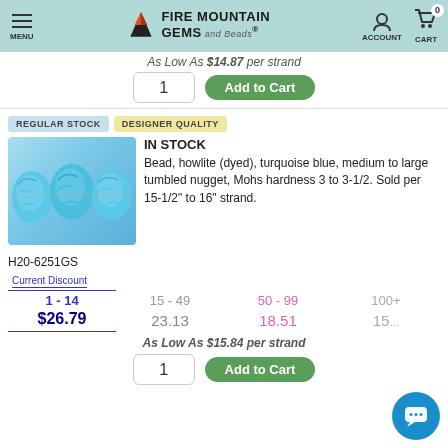Fire Mountain Gems and Beads — MENU | ACCOUNT | CART 0
As Low As $14.87 per strand
1  Add to Cart
REGULAR STOCK   DESIGNER QUALITY
IN STOCK
Bead, howlite (dyed), turquoise blue, medium to large tumbled nugget, Mohs hardness 3 to 3-1/2. Sold per 15-1/2" to 16" strand.
[Figure (photo): Three turquoise blue howlite tumbled nugget beads on a strand]
H20-6251GS
| Current Discount | 15 - 49 | 50 - 99 | 100+ |
| --- | --- | --- | --- |
| 1 - 14 | 15 - 49 | 50 - 99 | 100+ |
| $26.79 | 23.13 | 18.51 | 15... |
As Low As $15.84 per strand
1  Add to Cart